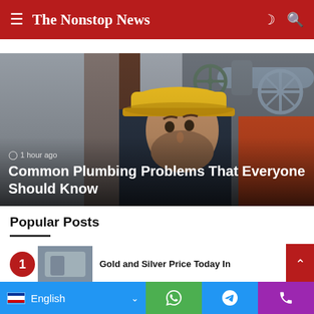The Nonstop News
[Figure (photo): A man wearing a yellow hard hat looking at industrial pipes and valves overhead, in a factory or utility setting]
1 hour ago
Common Plumbing Problems That Everyone Should Know
Popular Posts
Gold and Silver Price Today In
English